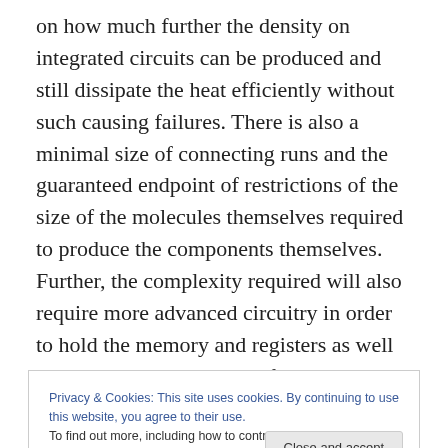on how much further the density on integrated circuits can be produced and still dissipate the heat efficiently without such causing failures. There is also a minimal size of connecting runs and the guaranteed endpoint of restrictions of the size of the molecules themselves required to produce the components themselves. Further, the complexity required will also require more advanced circuitry in order to hold the memory and registers as well as the processing unit itself will reach limits and in order to reach higher levels they will require the time-synchronizing multiple processing circuitry in order to produce very high
Privacy & Cookies: This site uses cookies. By continuing to use this website, you agree to their use. To find out more, including how to control cookies, see here: Cookie Policy
thus far meteoric rise. Moore's law will someday soon be